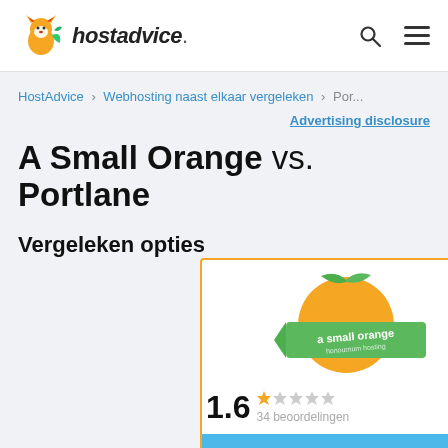hostadvice.
HostAdvice > Webhosting naast elkaar vergeleken > Por...
Advertising disclosure
A Small Orange vs. Portlane
Vergeleken opties
[Figure (logo): A Small Orange logo - orange fruit with green leaf and banner reading 'a small orange - honournum hosting']
1.6  34 beoordelingen
Bezoek A Small Oran...